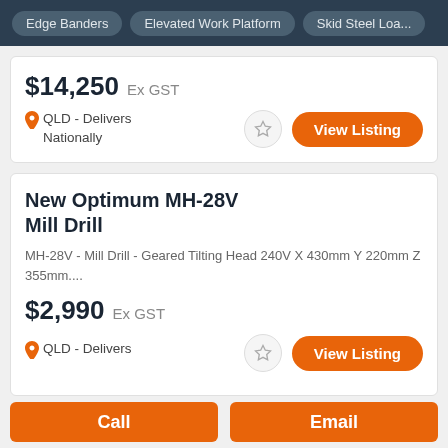Edge Banders | Elevated Work Platform | Skid Steel Loa...
$14,250 Ex GST
QLD - Delivers Nationally
View Listing
New Optimum MH-28V Mill Drill
MH-28V - Mill Drill - Geared Tilting Head 240V X 430mm Y 220mm Z 355mm....
$2,990 Ex GST
QLD - Delivers
View Listing
Call
Email